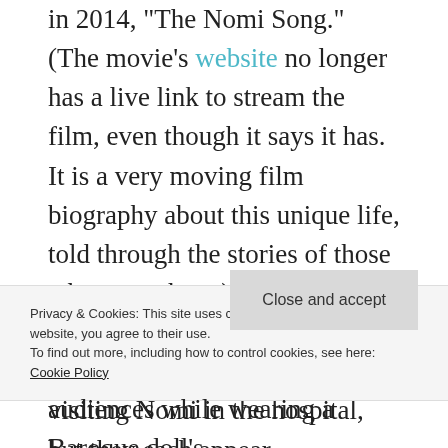website no longer has a live link to stream the film, even though it says it has. It is a very moving film biography about this unique life, told through the stories of those who were there.) In the film, his friends each seem to have well-worn justifications for not visiting Nomi in the hospital, but they each appear retrospectively saddened by the fact that they did not.
Privacy & Cookies: This site uses cookies. By continuing to use this website, you agree to their use. To find out more, including how to control cookies, see here: Cookie Policy
Close and accept
audiences while wearing a Baroque doll's